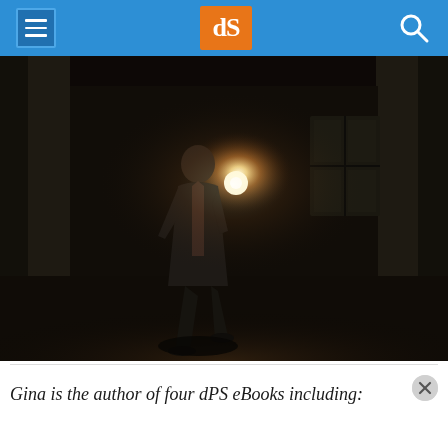dPS (digital Photography School) website header with menu icon, dPS logo, and search icon
[Figure (photo): A man in a dark suit walking through a dimly lit corridor or hall, with a bright light source (flare) shining from behind him. The scene is dramatic with dark columns and a window visible in the background. The floor reflects the light.]
Gina is the author of four dPS eBooks including: